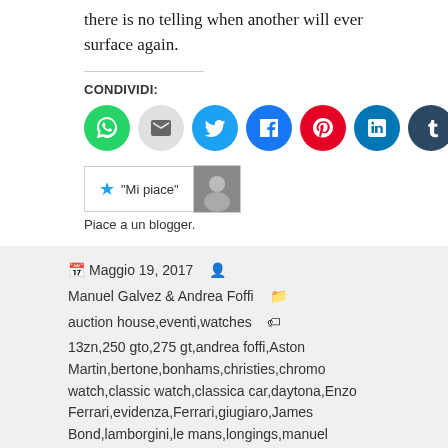there is no telling when another will ever surface again.
CONDIVIDI:
[Figure (infographic): Row of social media share buttons: WhatsApp (green), Email (grey), Twitter (light blue), Facebook (blue), Pinterest (red), LinkedIn (blue), Tumblr (dark blue)]
[Figure (infographic): WordPress Like button with star icon and Mi piace label, followed by a blogger avatar thumbnail]
Piace a un blogger.
Maggio 19, 2017  Manuel Galvez & Andrea Foffi  auction house,eventi,watches  13zn,250 gto,275 gt,andrea foffi,Aston Martin,bertone,bonhams,christies,chromo watch,classic watch,classica car,daytona,Enzo Ferrari,evidenza,Ferrari,giugiaro,James Bond,lamborgini,le mans,longings,manuel galvez,meridianae.com,meridianae.net,miura,monaco,montecarlo,omeg philippe,paul newman,pininfarina,rattrapante,rolex,rolex 6239,rolex 6241,Rolex Cosmograph Oyster,scaglietti,sotheby's,steve mcqueen,vintage car,vintage